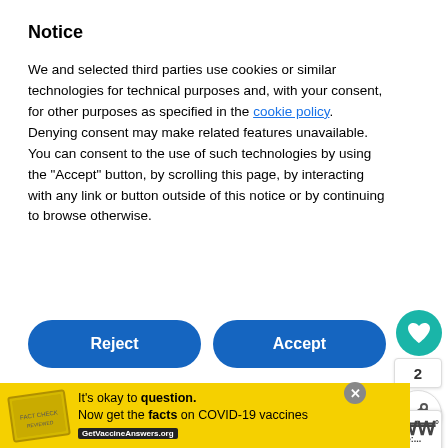Notice
We and selected third parties use cookies or similar technologies for technical purposes and, with your consent, for other purposes as specified in the cookie policy. Denying consent may make related features unavailable.
You can consent to the use of such technologies by using the "Accept" button, by scrolling this page, by interacting with any link or button outside of this notice or by continuing to browse otherwise.
Reject
Accept
Learn more and customize
[Figure (infographic): Teal heart icon in circular button on the right sidebar]
2
[Figure (infographic): Share icon in circular button on the right sidebar]
Get monthly updates from Dave with the latest stories and more.
WHAT'S NEXT → Sierra Nevada Adventure:...
It's okay to question. Now get the facts on COVID-19 vaccines GetVaccineAnswers.org